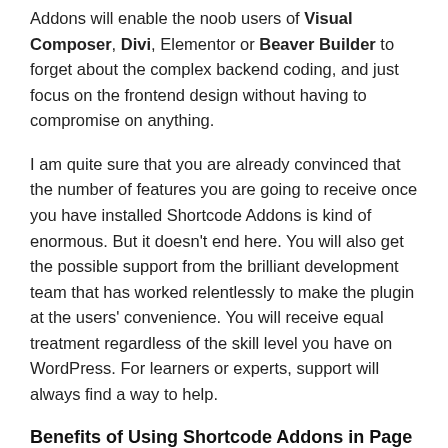Addons will enable the noob users of Visual Composer, Divi, Elementor or Beaver Builder to forget about the complex backend coding, and just focus on the frontend design without having to compromise on anything.
I am quite sure that you are already convinced that the number of features you are going to receive once you have installed Shortcode Addons is kind of enormous. But it doesn't end here. You will also get the possible support from the brilliant development team that has worked relentlessly to make the plugin at the users' convenience. You will receive equal treatment regardless of the skill level you have on WordPress. For learners or experts, support will always find a way to help.
Benefits of Using Shortcode Addons in Page Builders